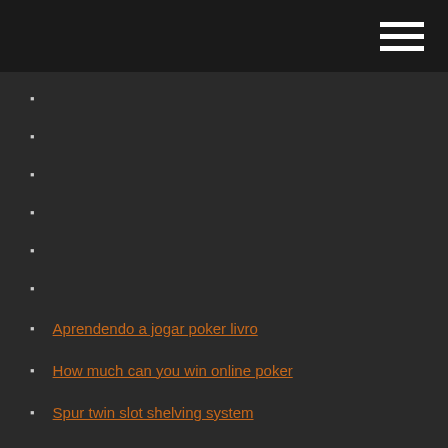Aprendendo a jogar poker livro
How much can you win online poker
Spur twin slot shelving system
Casino try out pakket verkooppunten
Quick hit slots for android
Code promo casino drive mouans sartoux
Wild horse casino arizona poker tournement
Santo antonio airstrip casino a android